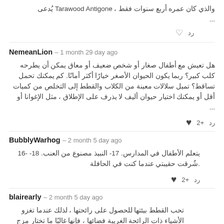والذي كان عمره أربع سنوات فقط ، Tarawood Antigone يُدعى ...
رد ♡
NemeanLion – 1 month 29 day ago
هل تعيش مع أطفال صغار أو شخص ضعيف أو معاق يمكن أن يطرحه كلب كبير؟ ربما يكون الحيوان الأصغر خيارًا أكثر أمانًا. كم يمكنك تحمل تساقط؟ تميل سلالات معينة من الكلاب والقطط إلى التخلص من كميات أقل أو يمكنك اختيار حيوان أليف لا يذرف على الإطلاق ، مثل الإغوانا أو ...
رد  +2 ♥
BubblyWarhog – 2 month 5 day ago
يتعلم الأطفال في المدارس. 17- النبيذ مصنوع من العنب. 18- -16 شُرقت حقيبتي عندما كنت في الحافلة.
رد  +2 ♥
blairearly – 2 month 5 day ago
تحب القطط بيئتها للحصول على رائحتها ، لذلك عندما تغزو الأشياء ذات الرائحة الغريبة فضائها ، فإنها غالبًا ما تختار مزج ...